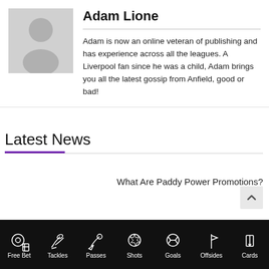[Figure (illustration): Generic user avatar placeholder with person silhouette on gray background]
Adam Lione
Adam is now an online veteran of publishing and has experience across all the leagues. A Liverpool fan since he was a child, Adam brings you all the latest gossip from Anfield, good or bad!
Latest News
What Are Paddy Power Promotions?
[Figure (illustration): Dark bottom navigation bar with sports betting icons: Free Bet (soccer ball with chips), Tackles (cleats), Passes (foot kicking ball), Shots (ball), Goals (net), Offsides (flag), Cards (card hand)]